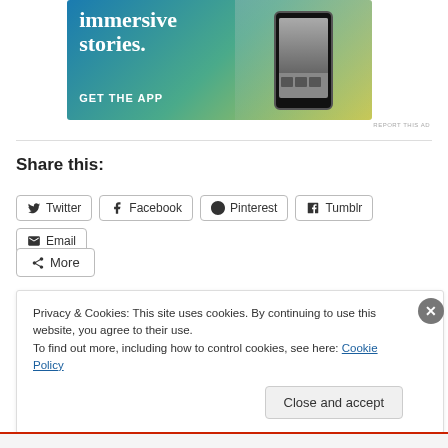[Figure (screenshot): App advertisement banner with text 'immersive stories.' and 'GET THE APP', showing a phone mockup with a person in yellow jacket near a waterfall. Blue to yellow-green gradient background.]
REPORT THIS AD
Share this:
Twitter
Facebook
Pinterest
Tumblr
Email
More
Privacy & Cookies: This site uses cookies. By continuing to use this website, you agree to their use.
To find out more, including how to control cookies, see here: Cookie Policy
Close and accept